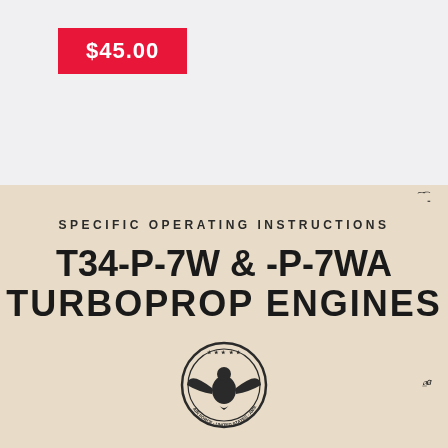$45.00
[Figure (illustration): Cover page of a military technical manual for T34-P-7W & -P-7WA Turboprop Engines, showing document title text on aged cream/beige background with a military eagle emblem seal at the bottom, and a handwritten notation in upper right corner.]
SPECIFIC OPERATING INSTRUCTIONS
T34-P-7W & -P-7WA TURBOPROP ENGINES